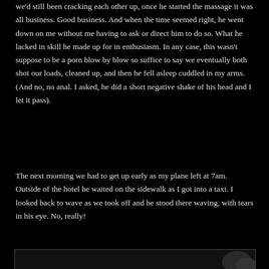we'd still been cracking each other up, once he started the massage it was all business. Good business. And when the time seemed right, he went down on me without me having to ask or direct him to do so. What he lacked in skill he made up for in enthusiasm. In any case, this wasn't suppose to be a porn blow by blow so suffice to say we eventually both shot our loads, cleaned up, and then he fell asleep cuddled in my arms. (And no, no anal. I asked, he did a short negative shake of his head and I let it pass).
The next morning we had to get up early as my plane left at 7am. Outside of the hotel he waited on the sidewalk as I got into a taxi. I looked back to wave as we took off and he stood there waving, with tears in his eye. No, really!
[Figure (photo): Partial image visible at bottom of page, dark background with a hand or figure partially visible]